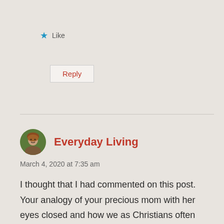★ Like
Reply
Everyday Living
March 4, 2020 at 7:35 am
[Figure (photo): Circular avatar photo of a person with reddish-brown hair outdoors]
I thought that I had commented on this post. Your analogy of your precious mom with her eyes closed and how we as Christians often